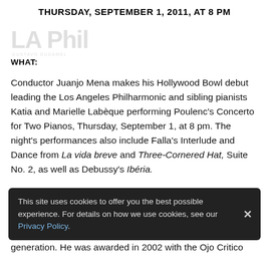THURSDAY, SEPTEMBER 1, 2011, AT 8 PM
[Figure (logo): LA Phil logo with 'GUSTAVO DUDAMEL MUSIC & ARTISTIC DIRECTOR' text]
WHAT:
Conductor Juanjo Mena makes his Hollywood Bowl debut leading the Los Angeles Philharmonic and sibling pianists Katia and Marielle Labèque performing Poulenc's Concerto for Two Pianos, Thursday, September 1, at 8 pm. The night's performances also include Falla's Interlude and Dance from La vida breve and Three-Cornered Hat, Suite No. 2, as well as Debussy's Ibéria.
Juanjo Mena is the newly appointed chief conductor of the BBC Philharmonic in Manchester and has led prestigious orchestras worldwide. Born in the Basque region of Spain, Mena began his early musical training at
generation. He was awarded in 2002 with the Ojo Critico
This site uses cookies to offer you the best possible experience. For details on how we use cookies, see our Privacy Policy.